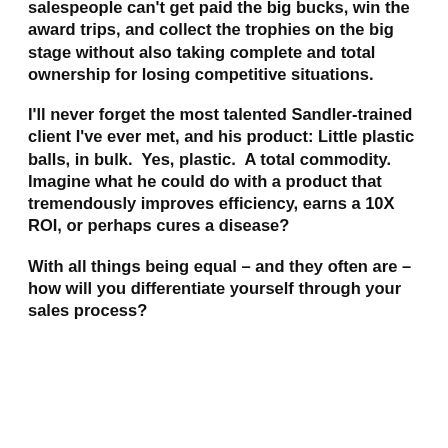salespeople can't get paid the big bucks, win the award trips, and collect the trophies on the big stage without also taking complete and total ownership for losing competitive situations.
I'll never forget the most talented Sandler-trained client I've ever met, and his product: Little plastic balls, in bulk.  Yes, plastic.  A total commodity.  Imagine what he could do with a product that tremendously improves efficiency, earns a 10X ROI, or perhaps cures a disease?
With all things being equal – and they often are – how will you differentiate yourself through your sales process?